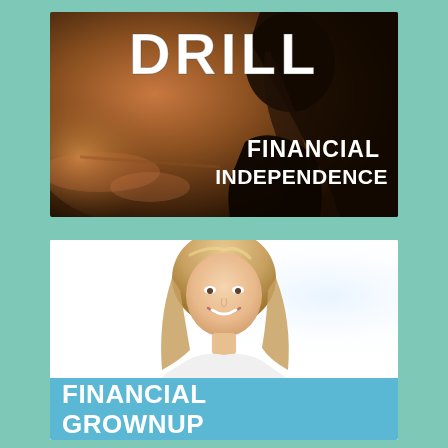[Figure (illustration): Dark-toned book or podcast cover image showing a silhouette of a woman with long hair, warm amber/brown tones, with bold white text 'DRILL' at the top and 'FINANCIAL INDEPENDENCE' in white at the bottom right]
[Figure (illustration): Podcast cover image with white background showing a smiling blonde woman, and a blue banner at the bottom with bold white text 'FINANCIAL GROWNUP']